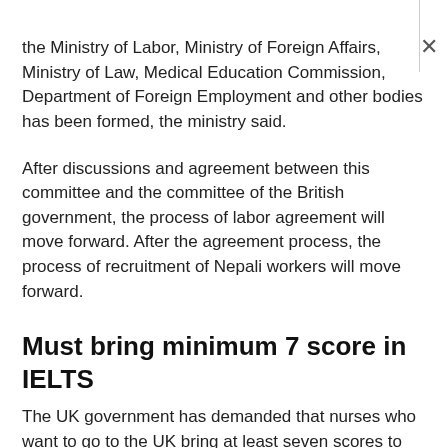the Ministry of Labor, Ministry of Foreign Affairs, Ministry of Law, Medical Education Commission, Department of Foreign Employment and other bodies has been formed, the ministry said.
After discussions and agreement between this committee and the committee of the British government, the process of labor agreement will move forward. After the agreement process, the process of recruitment of Nepali workers will move forward.
Must bring minimum 7 score in IELTS
The UK government has demanded that nurses who want to go to the UK bring at least seven scores to the IELTS. The